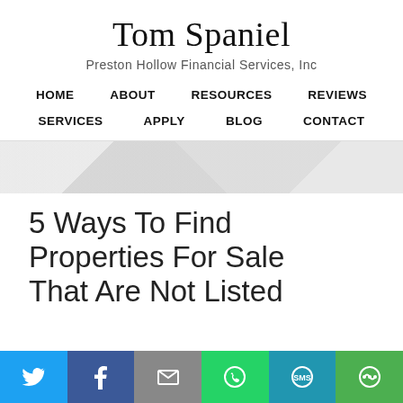Tom Spaniel
Preston Hollow Financial Services, Inc
HOME   ABOUT   RESOURCES   REVIEWS   SERVICES   APPLY   BLOG   CONTACT
5 Ways To Find Properties For Sale That Are Not Listed